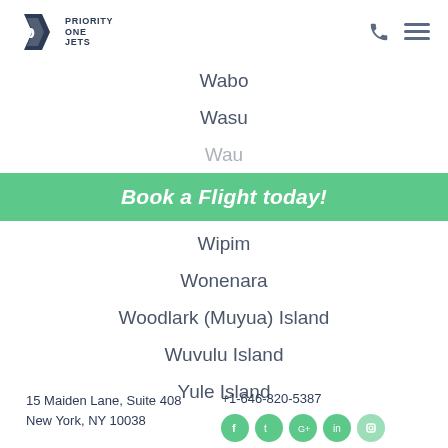Priority One Jets logo, phone icon, menu icon
Wabo
Wasu
Wau
Book a Flight today!
Wipim
Wonenara
Woodlark (Muyua) Island
Wuvulu Island
Yule Island
15 Maiden Lane, Suite 408
New York, NY 10038
+1-646-820-5387